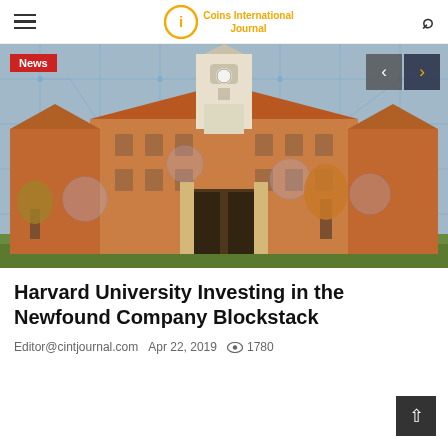Coins International Journal
[Figure (photo): Harvard University building (red brick Georgian architecture with white clock tower) overlaid with a blue circuit-board pattern and translucent circular blockchain node graphics. A red 'News' badge appears top-left. Navigation arrows appear top-right.]
Harvard University Investing in the Newfound Company Blockstack
Editor@cintjournal.com  Apr 22, 2019  1780